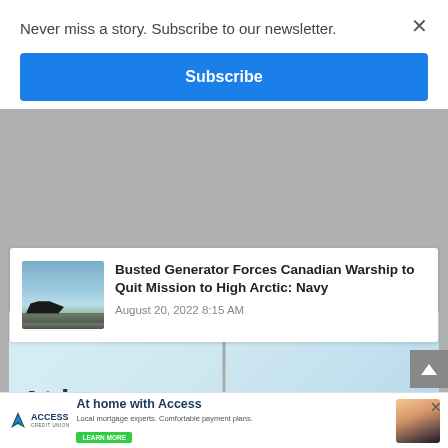Never miss a story. Subscribe to our newsletter.
Subscribe
Busted Generator Forces Canadian Warship to Quit Mission to High Arctic: Navy
August 20, 2022 8:15 AM
[Figure (photo): Access Credit Union advertisement showing 'At home' text with a lamp post graphic and Access Credit Union logo]
[Figure (photo): Access Credit Union bottom banner ad: 'At home with Access' - Local mortgage experts. Comfortable payment plans. Learn More button. Family photo on right. X close button.]